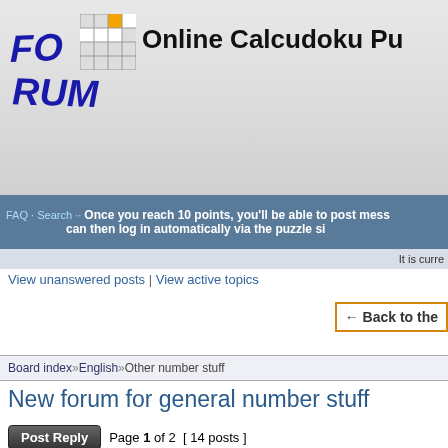Online Calcudoku Pu
FAQ · Search ·· Once you reach 10 points, you'll be able to post mess... can then log in automatically via the puzzle si...
It is curre...
View unanswered posts | View active topics
← Back to the...
Board index » English » Other number stuff
New forum for general number stuff
Page 1 of 2  [ 14 posts ]
Print view
| Author | Message |
| --- | --- |
| pnm
subscriber | ☆ New forum for general number stuff
I thought it would be nice to have a separate forum for m... number / math / puzzle related topics. |